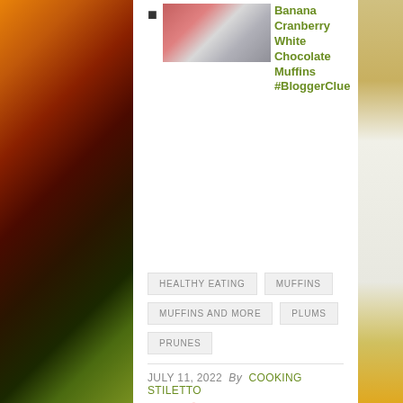Banana Cranberry White Chocolate Muffins #BloggerClue
HEALTHY EATING   MUFFINS   MUFFINS AND MORE   PLUMS   PRUNES
JULY 11, 2022  By  COOKING STILETTO
Social share icons: Facebook, Twitter, Pinterest, Google+
‹ Grilled Barbecue Chicken Salad with Smoky Barbecue Vinaigrette #Evergriller #Sponsored
Celebrate the Red White And Blue With Hokey...